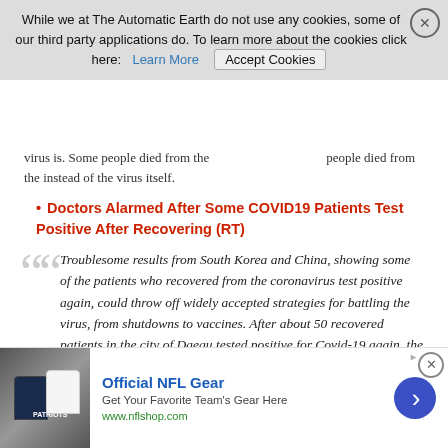virus is. Some people died from the instead of the virus itself.
Doctors Alarmed After Some COVID19 Patients Test Positive After Recovering (RT)
Troublesome results from South Korea and China, showing some of the patients who recovered from the coronavirus test positive again, could throw off widely accepted strategies for battling the virus, from shutdowns to vaccines. After about 50 recovered patients in the city of Daegu tested positive for Covid-19 again, the Korea Centers for Disease Control and Prevention (KCDC) launched an investigation into whether they were somehow reinfected, or if the virus had made a comeback. “While we are putting more weight on reactivation as the possible cause, we are conducting a comprehensive study on this,” said KCDC Director-General Jeong Eun-kyeong, as quoted by
[Figure (other): NFL Gear advertisement banner with jersey image, title 'Official NFL Gear', subtitle 'Get Your Favorite Team’s Gear Here', URL 'www.nflshop.com', and blue arrow button]